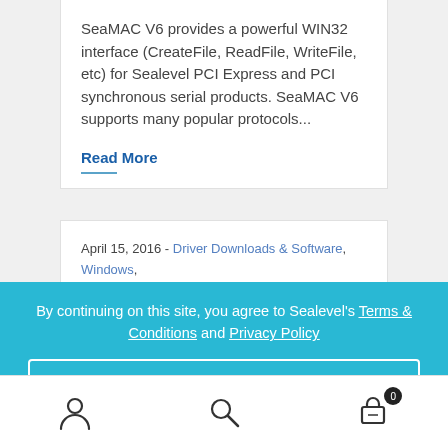SeaMAC V6 provides a powerful WIN32 interface (CreateFile, ReadFile, WriteFile, etc) for Sealevel PCI Express and PCI synchronous serial products. SeaMAC V6 supports many popular protocols...
Read More
April 15, 2016 - Driver Downloads & Software, Windows, Digital I/O, SeaMAX
By continuing on this site, you agree to Sealevel's Terms & Conditions and Privacy Policy
Dismiss